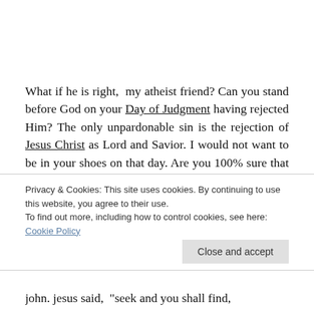What if he is right, my atheist friend? Can you stand before God on your Day of Judgment having rejected Him? The only unpardonable sin is the rejection of Jesus Christ as Lord and Savior. I would not want to be in your shoes on that day. Are you 100% sure that God does not exist? Because if not, I
Privacy & Cookies: This site uses cookies. By continuing to use this website, you agree to their use.
To find out more, including how to control cookies, see here:
Cookie Policy
Close and accept
John. Jesus said, "seek and you shall find,